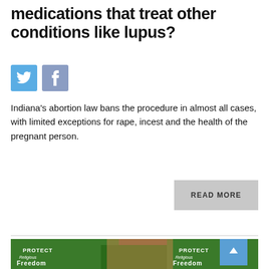medications that treat other conditions like lupus?
[Figure (illustration): Twitter and Facebook social sharing icons]
Indiana's abortion law bans the procedure in almost all cases, with limited exceptions for rape, incest and the health of the pregnant person.
READ MORE
[Figure (photo): Crowd of people holding green signs reading PROTECT RELIGIOUS FREEDOM inside a building with wood-paneled walls]